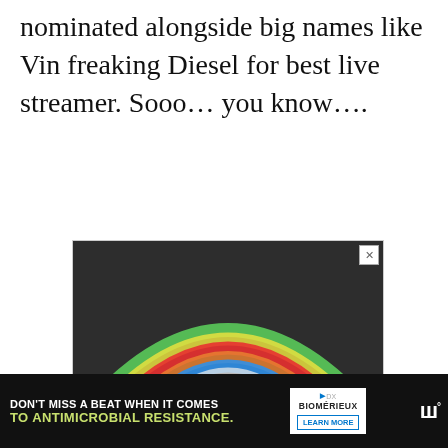nominated alongside big names like Vin freaking Diesel for best live streamer. Sooo… you know….
[Figure (photo): Advertisement image showing a chalk rainbow drawn on dark pavement with chalk sticks at the base. White bold text reads '#ViralKindness'. A small close/X button is in the top right corner.]
[Figure (infographic): Bottom banner advertisement. Left side on dark background reads 'DON'T MISS A BEAT WHEN IT COMES TO ANTIMICROBIAL RESISTANCE.' in white and yellow-green text. Right side shows bioMérieux logo with a 'LEARN MORE' button. Far right shows a weather-style 'W' logo.]